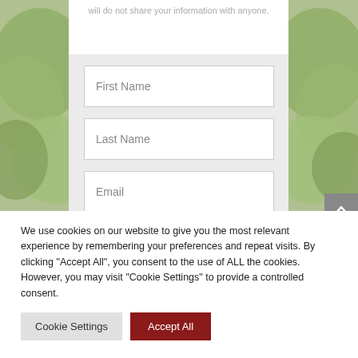will do not share your information with anyone.
[Figure (screenshot): Web form with First Name, Last Name, and Email input fields on a gray background, with a garden/plant background on the sides.]
We use cookies on our website to give you the most relevant experience by remembering your preferences and repeat visits. By clicking “Accept All”, you consent to the use of ALL the cookies. However, you may visit "Cookie Settings" to provide a controlled consent.
Cookie Settings
Accept All